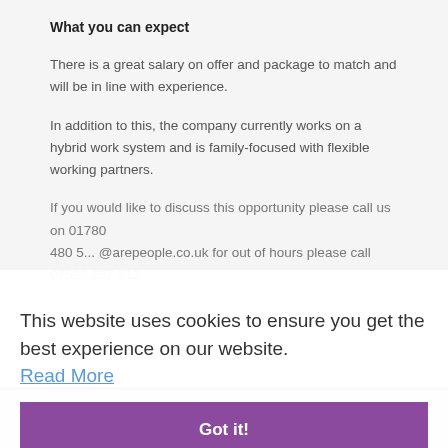What you can expect
There is a great salary on offer and package to match and will be in line with experience.
In addition to this, the company currently works on a hybrid work system and is family-focused with flexible working partners.
If you would like to discuss this opportunity please call us on 01780 480 5... @arepeople.co.uk for out of hours please call 07522 237 512
This website uses cookies to ensure you get the best experience on our website. Read More
Got it!
APPLY NOW >